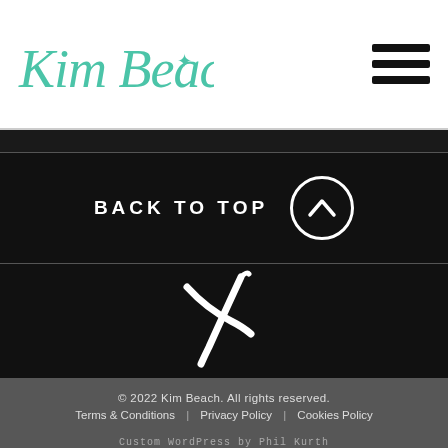Kim Beach (logo) — navigation header with hamburger menu
BACK TO TOP
[Figure (logo): Kim Beach cursive logo mark — stylized white X/asterisk icon on dark background]
© 2022 Kim Beach. All rights reserved. Terms & Conditions  Privacy Policy  Cookies Policy  Custom WordPress by Phil Kurth